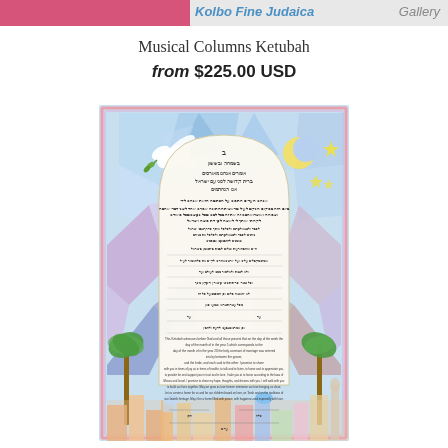Kolbo Fine Judaica Gallery
Musical Columns Ketubah
from $225.00 USD
[Figure (illustration): A colorful illustrated ketubah (Jewish marriage contract) with stained-glass style border featuring a dove, crescent moon, stars, palm trees, and Jerusalem cityscape. The interior contains Hebrew and English text in a decorative arch-shaped frame.]